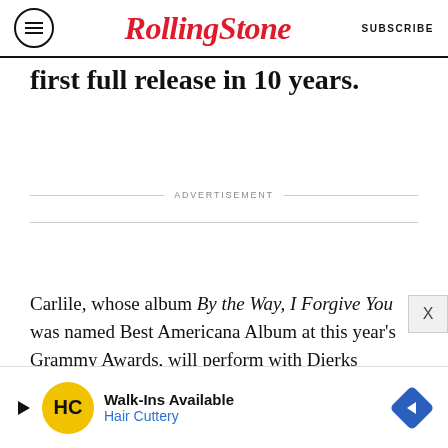RollingStone | SUBSCRIBE
first full release in 10 years.
ADVERTISEMENT
Carlile, whose album By the Way, I Forgive You was named Best Americana Album at this year's Grammy Awards, will perform with Dierks Bentley at Sunday's ACM Awards. She also has a string of festival appearances lined up for summer, including Bonnaroo, Boston Calling, Telluride
[Figure (other): Walk-Ins Available Hair Cuttery advertisement banner with HC logo and navigation arrow]